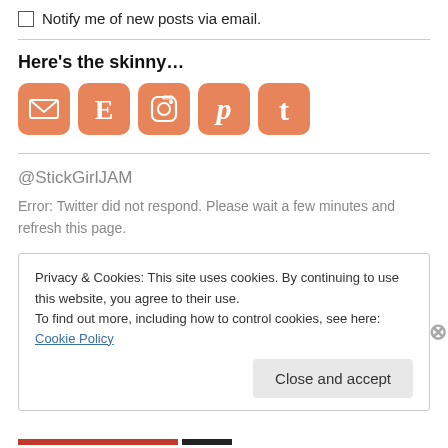Notify me of new posts via email.
Here's the skinny…
[Figure (illustration): Row of five social media icon buttons in orange/salmon color: email envelope, Etsy E, Instagram camera, Pinterest P, Tumblr t]
@StickGirlJAM
Error: Twitter did not respond. Please wait a few minutes and refresh this page.
Privacy & Cookies: This site uses cookies. By continuing to use this website, you agree to their use.
To find out more, including how to control cookies, see here: Cookie Policy
Close and accept